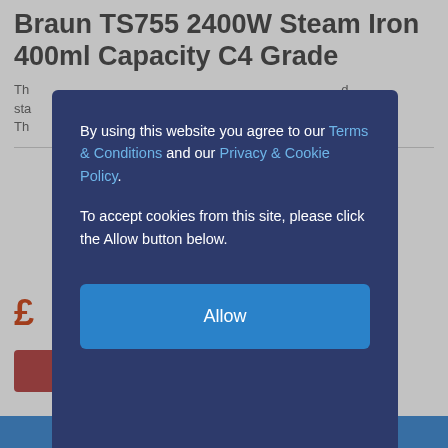Braun TS755 2400W Steam Iron 400ml Capacity C4 Grade
Th... d sta... Th...
By using this website you agree to our Terms & Conditions and our Privacy & Cookie Policy. To accept cookies from this site, please click the Allow button below.
Allow